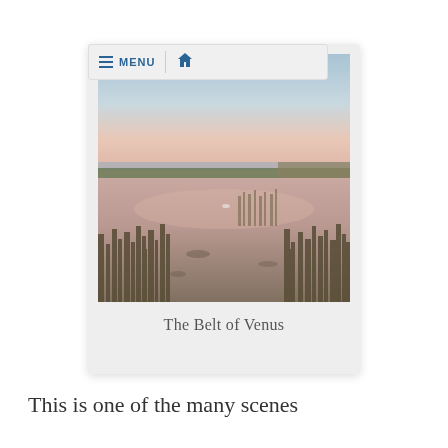≡ MENU  🏠
[Figure (photo): Wetland marsh scene at twilight showing the Belt of Venus phenomenon — a pink and blue gradient sky reflected over shallow water with marsh grasses]
The Belt of Venus
This is one of the many scenes